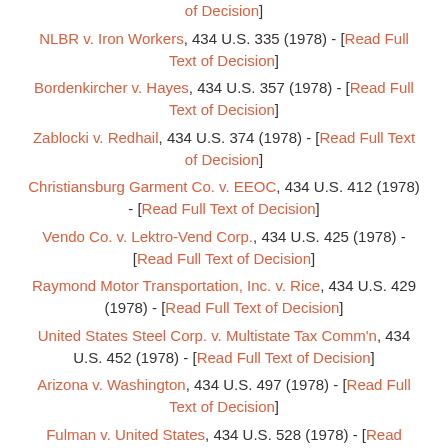of Decision]
NLBR v. Iron Workers, 434 U.S. 335 (1978) - [Read Full Text of Decision]
Bordenkircher v. Hayes, 434 U.S. 357 (1978) - [Read Full Text of Decision]
Zablocki v. Redhail, 434 U.S. 374 (1978) - [Read Full Text of Decision]
Christiansburg Garment Co. v. EEOC, 434 U.S. 412 (1978) - [Read Full Text of Decision]
Vendo Co. v. Lektro-Vend Corp., 434 U.S. 425 (1978) - [Read Full Text of Decision]
Raymond Motor Transportation, Inc. v. Rice, 434 U.S. 429 (1978) - [Read Full Text of Decision]
United States Steel Corp. v. Multistate Tax Comm'n, 434 U.S. 452 (1978) - [Read Full Text of Decision]
Arizona v. Washington, 434 U.S. 497 (1978) - [Read Full Text of Decision]
Fulman v. United States, 434 U.S. 528 (1978) - [Read